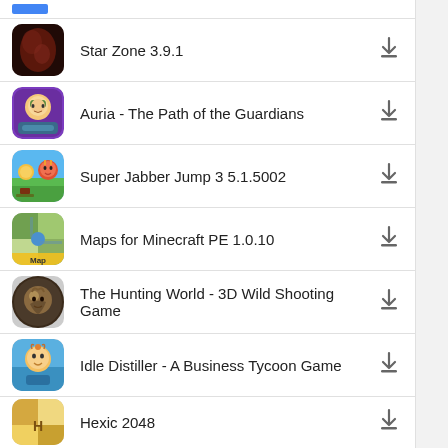Star Zone 3.9.1
Auria - The Path of the Guardians
Super Jabber Jump 3 5.1.5002
Maps for Minecraft PE 1.0.10
The Hunting World - 3D Wild Shooting Game
Idle Distiller - A Business Tycoon Game
Hexic 2048